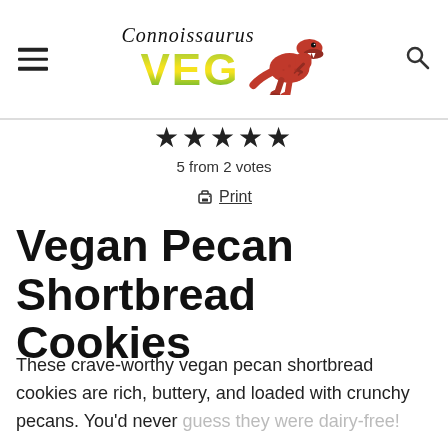Connoissaurus VEG
★★★★★
5 from 2 votes
🖨 Print
Vegan Pecan Shortbread Cookies
These crave-worthy vegan pecan shortbread cookies are rich, buttery, and loaded with crunchy pecans. You'd never guess they were dairy-free!